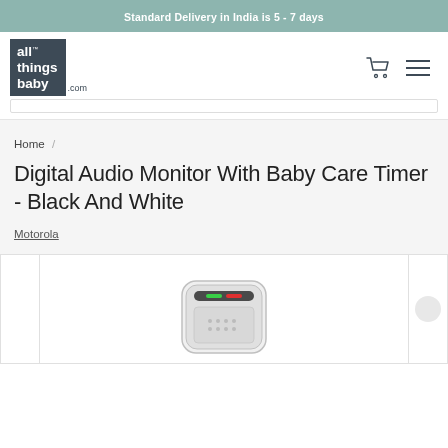Standard Delivery in India is 5 - 7 days
[Figure (logo): allthingsbaby.com logo — white text on dark slate square block with TM mark and .com suffix]
Home /
Digital Audio Monitor With Baby Care Timer - Black And White
Motorola
[Figure (photo): Product image of a Motorola digital audio baby monitor device, white/grey body with green and red LED indicator lights on top, partially cropped at bottom of page]